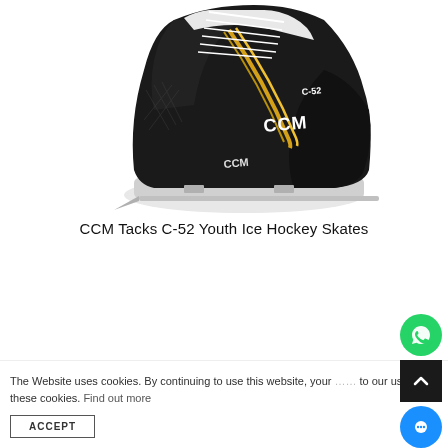[Figure (photo): CCM Tacks C-52 Youth Ice Hockey Skate — black boot with yellow accent stripe, white laces, white blade holder, silver blade, CCM logo on side]
CCM Tacks C-52 Youth Ice Hockey Skates
The Website uses cookies. By continuing to use this website, your agree to our use of these cookies. Find out more